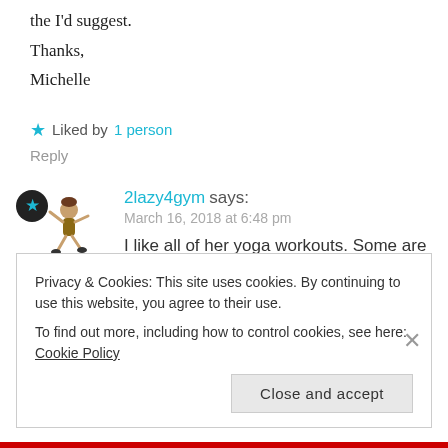the I'd suggest.
Thanks,
Michelle
★ Liked by 1 person
Reply
2lazy4gym says:
March 16, 2018 at 6:48 pm
I like all of her yoga workouts. Some are very gentle and some are very intense. Since they are all pretty short
Privacy & Cookies: This site uses cookies. By continuing to use this website, you agree to their use.
To find out more, including how to control cookies, see here: Cookie Policy
Close and accept